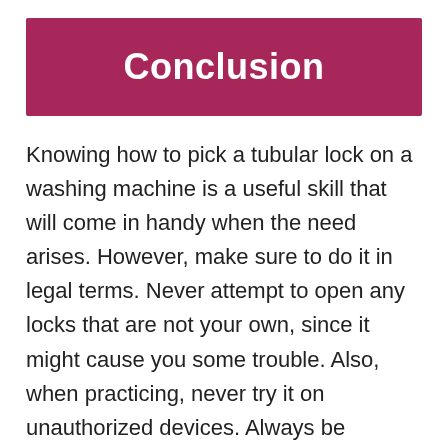Conclusion
Knowing how to pick a tubular lock on a washing machine is a useful skill that will come in handy when the need arises. However, make sure to do it in legal terms. Never attempt to open any locks that are not your own, since it might cause you some trouble. Also, when practicing, never try it on unauthorized devices. Always be mindful of how you use your lock picking skills to save you from troubles.